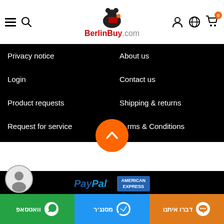[Figure (logo): BerlinBuy.com logo with bear mascot and shopping cart]
Privacy notice
About us
Login
Contact us
Product requests
Shipping & returns
Request for service
Terms & Conditions
[Figure (infographic): Payment method logos: PayPal, American Express, Diners Club International, MasterCard, VISA]
Copyright © 2022 BerlinBuy. All rights reserved.
וואטסאפ
מסנג׳ר
דברו איתנו